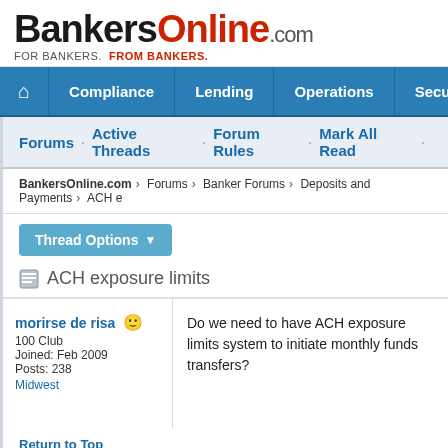BankersOnline.com
FOR BANKERS. FROM BANKERS.
Home · Compliance · Lending · Operations · Security
Forums · Active Threads · Forum Rules · Mark All Read
BankersOnline.com > Forums > Banker Forums > Deposits and Payments > ACH e
Thread Options
ACH exposure limits
morirse de risa
100 Club
Joined: Feb 2009
Posts: 238
Midwest
Do we need to have ACH exposure limits system to initiate monthly funds transfers?
Return to Top